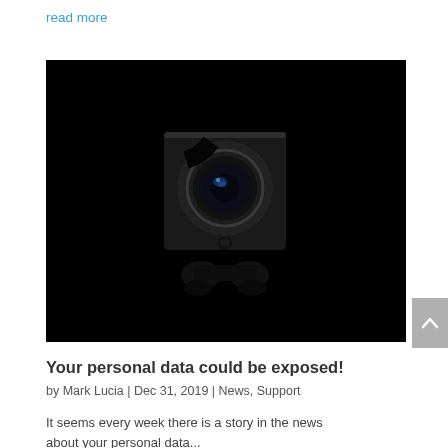read more
[Figure (photo): Close-up photo of a small black security/smart home camera on a black background, with a distinctive circular lens in the center]
Your personal data could be exposed!
by Mark Lucia | Dec 31, 2019 | News, Support
It seems every week there is a story in the news about your personal data...